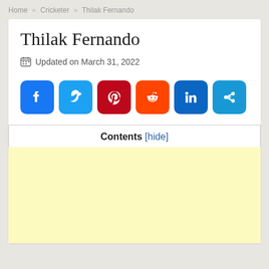Home » Cricketer » Thilak Fernando
Thilak Fernando
Updated on March 31, 2022
[Figure (other): Social media share buttons: Facebook, Twitter, Pinterest, Reddit, LinkedIn, Share]
Contents [hide]
[Figure (other): Advertisement block with light yellow background]